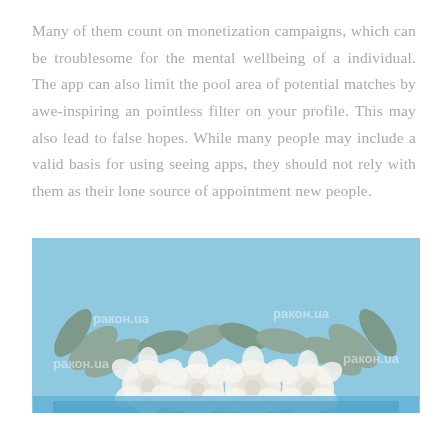Many of them count on monetization campaigns, which can be troublesome for the mental wellbeing of a individual. The app can also limit the pool area of potential matches by awe-inspiring an pointless filter on your profile. This may also lead to false hopes. While many people may include a valid basis for using seeing apps, they should not rely with them as their lone source of appointment new people.
[Figure (photo): Photo of white roses bouquet arranged on a light blue background, with green-grey eucalyptus leaves. The image has a watermark overlay.]